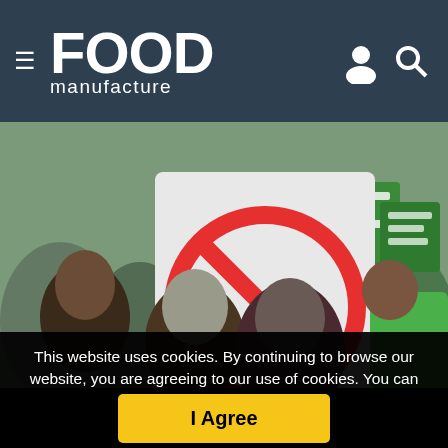Food Manufacture — navigation bar with hamburger menu, logo, user icon, search icon
[Figure (photo): A crowd of protesters holding signs including a red prohibition/no sign on a white placard and green signs, outdoors at a public demonstration]
This website uses cookies. By continuing to browse our website, you are agreeing to our use of cookies. You can learn more about cookies by visiting our privacy & cookies policy page.
I Agree